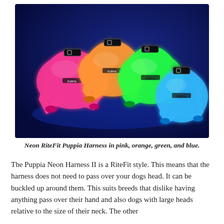[Figure (photo): Four neon Puppia RiteFit dog harnesses in pink, orange, green, and blue arranged on a dark blue background, glowing under UV/black light.]
Neon RiteFit Puppia Harness in pink, orange, green, and blue.
The Puppia Neon Harness II is a RiteFit style. This means that the harness does not need to pass over your dogs head. It can be buckled up around them. This suits breeds that dislike having anything pass over their hand and also dogs with large heads relative to the size of their neck. The other